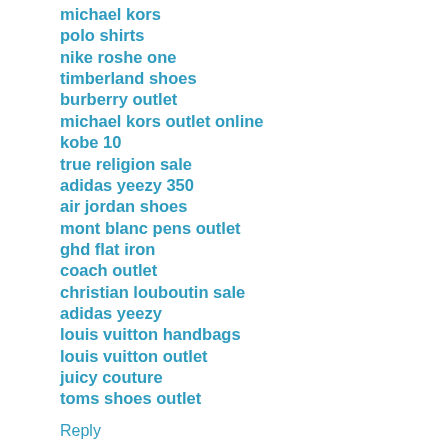michael kors
polo shirts
nike roshe one
timberland shoes
burberry outlet
michael kors outlet online
kobe 10
true religion sale
adidas yeezy 350
air jordan shoes
mont blanc pens outlet
ghd flat iron
coach outlet
christian louboutin sale
adidas yeezy
louis vuitton handbags
louis vuitton outlet
juicy couture
toms shoes outlet
Reply